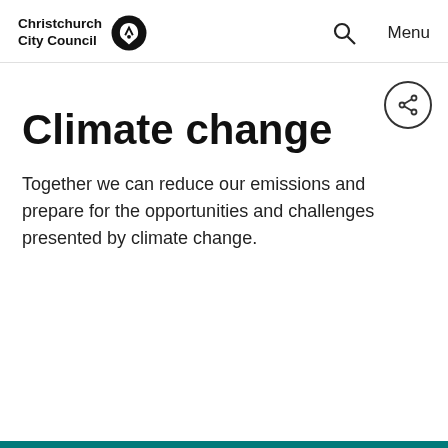Christchurch City Council | Search | Menu
Climate change
Together we can reduce our emissions and prepare for the opportunities and challenges presented by climate change.